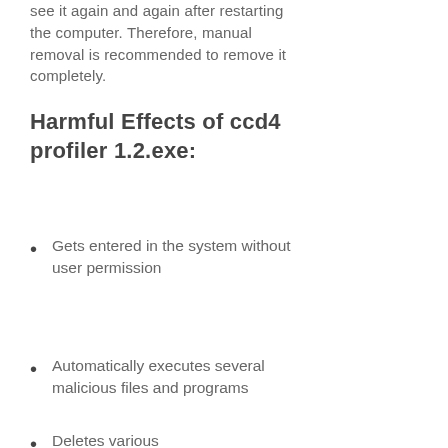see it again and again after restarting the computer. Therefore, manual removal is recommended to remove it completely.
Harmful Effects of ccd4 profiler 1.2.exe:
Gets entered in the system without user permission
Automatically executes several malicious files and programs
Deletes various